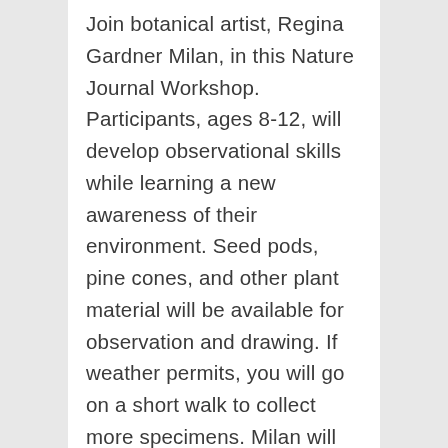Join botanical artist, Regina Gardner Milan, in this Nature Journal Workshop. Participants, ages 8-12, will develop observational skills while learning a new awareness of their environment. Seed pods, pine cones, and other plant material will be available for observation and drawing. If weather permits, you will go on a short walk to collect more specimens. Milan will do demonstrations of drawing and documenting important details, and then you will try your own hand at creating a personal nature journal.…